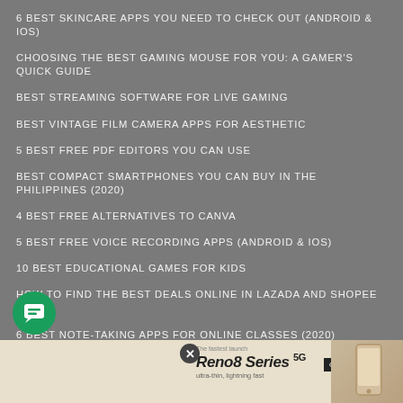6 BEST SKINCARE APPS YOU NEED TO CHECK OUT (ANDROID & IOS)
CHOOSING THE BEST GAMING MOUSE FOR YOU: A GAMER'S QUICK GUIDE
BEST STREAMING SOFTWARE FOR LIVE GAMING
BEST VINTAGE FILM CAMERA APPS FOR AESTHETIC
5 BEST FREE PDF EDITORS YOU CAN USE
BEST COMPACT SMARTPHONES YOU CAN BUY IN THE PHILIPPINES (2020)
4 BEST FREE ALTERNATIVES TO CANVA
5 BEST FREE VOICE RECORDING APPS (ANDROID & IOS)
10 BEST EDUCATIONAL GAMES FOR KIDS
HOW TO FIND THE BEST DEALS ONLINE IN LAZADA AND SHOPEE (2020)
6 BEST NOTE-TAKING APPS FOR ONLINE CLASSES (2020)
6 BEST FREE VIDEO EDITING SOFTWARES
6 BEST SITES TO DOWNLOAD FREE STOCK PHOTOS AND VIDEOS
BEST USB MICROPHONES UNDER PHP 5K
7 BEST INTERNET BROWSERS AND THEIR BEST FEATURES
GAMING SMARTPHONES UNDER PHP 8,000
5 BEST SITES TO D... FOR YOUR KIDS
[Figure (infographic): Green chat/messenger button (bottom left) and Oppo Reno8 Series advertisement banner at the bottom with 'COMING SOON' badge and phone image]